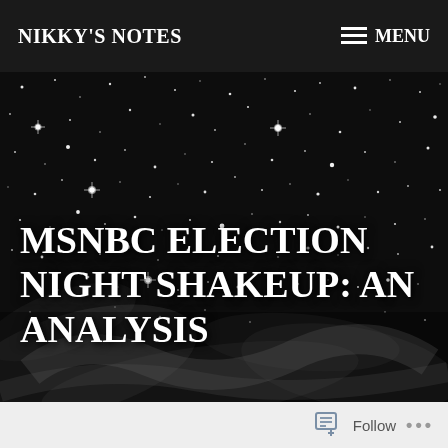NIKKY'S NOTES  ≡ MENU
[Figure (photo): Black and white photograph of a starfield/nebula with stars and wispy cosmic clouds against a dark background]
MSNBC ELECTION NIGHT SHAKEUP: AN ANALYSIS
Follow ...